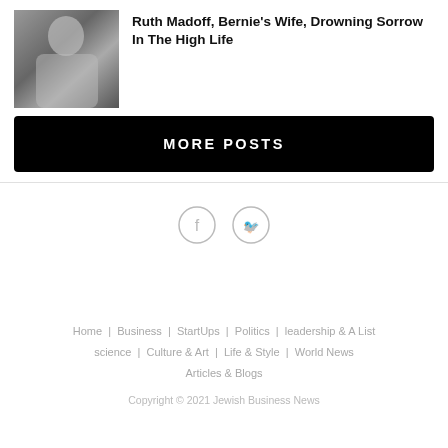[Figure (photo): Photo of Ruth Madoff, a blonde woman in a black jacket]
Ruth Madoff, Bernie's Wife, Drowning Sorrow In The High Life
MORE POSTS
[Figure (infographic): Social media icons: Facebook and Twitter circles]
Home  Business  StartUps  Politics  leadership & A List  science  Culture & Art  Life & Style  World News  Articles & Blogs
Copyright © 2021 Jewish Business News